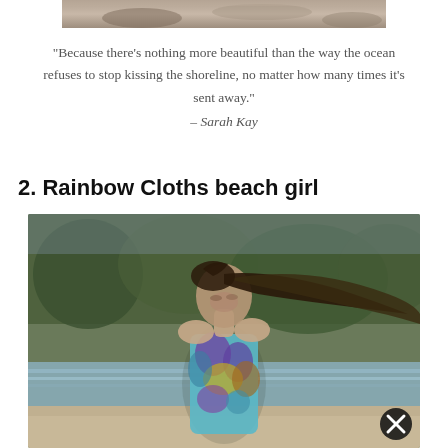[Figure (photo): Partial top image showing sandy/rocky beach surface]
“Because there’s nothing more beautiful than the way the ocean refuses to stop kissing the shoreline, no matter how many times it’s sent away.” – Sarah Kay
2. Rainbow Cloths beach girl
[Figure (photo): Young woman with long dark hair blowing in the wind, wearing a colorful tropical-print swimsuit, standing on a beach with water and trees in the background. A close button (X in circle) is visible in the lower right corner.]